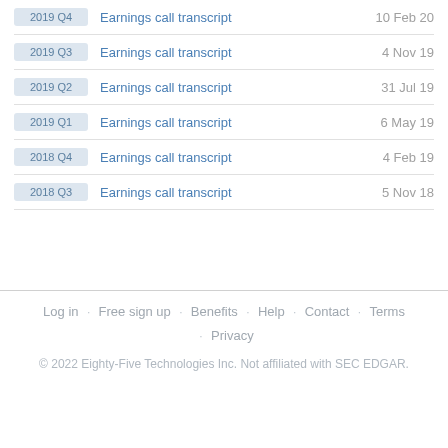2019 Q4 | Earnings call transcript | 10 Feb 20
2019 Q3 | Earnings call transcript | 4 Nov 19
2019 Q2 | Earnings call transcript | 31 Jul 19
2019 Q1 | Earnings call transcript | 6 May 19
2018 Q4 | Earnings call transcript | 4 Feb 19
2018 Q3 | Earnings call transcript | 5 Nov 18
Log in · Free sign up · Benefits · Help · Contact · Terms · Privacy
© 2022 Eighty-Five Technologies Inc. Not affiliated with SEC EDGAR.